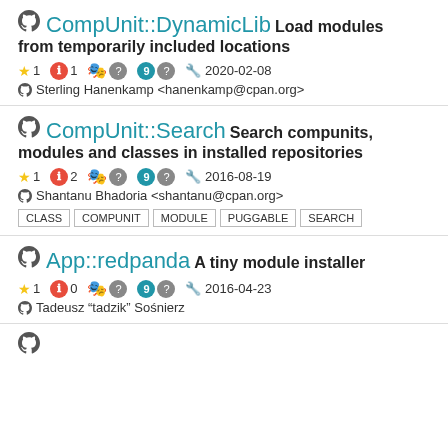CompUnit::DynamicLib Load modules from temporarily included locations
★ 1  ℹ 1  🎭 ?  ⑨ ?  🔧 2020-02-08  Sterling Hanenkamp <hanenkamp@cpan.org>
CompUnit::Search Search compunits, modules and classes in installed repositories
★ 1  ℹ 2  🎭 ?  ⑨ ?  🔧 2016-08-19  Shantanu Bhadoria <shantanu@cpan.org>
CLASS  COMPUNIT  MODULE  PUGGABLE  SEARCH
App::redpanda A tiny module installer
★ 1  ℹ 0  🎭 ?  ⑨ ?  🔧 2016-04-23  Tadeusz "tadzik" Sośnierz